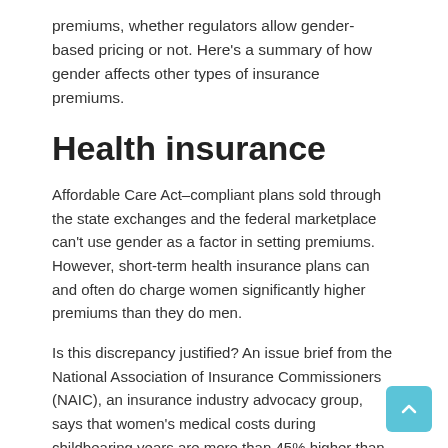premiums, whether regulators allow gender-based pricing or not. Here's a summary of how gender affects other types of insurance premiums.
Health insurance
Affordable Care Act–compliant plans sold through the state exchanges and the federal marketplace can't use gender as a factor in setting premiums. However, short-term health insurance plans can and often do charge women significantly higher premiums than they do men.
Is this discrepancy justified? An issue brief from the National Association of Insurance Commissioners (NAIC), an insurance industry advocacy group, says that women's medical costs during childbearing years are more than 45% higher than those for men of the same age, and the difference can be as much as 270%, including maternity costs. The difference decreases with age, and men become more expensive users of healthcare by their mid-50s.
When it comes to non-ACA plans (including short-term plans), states